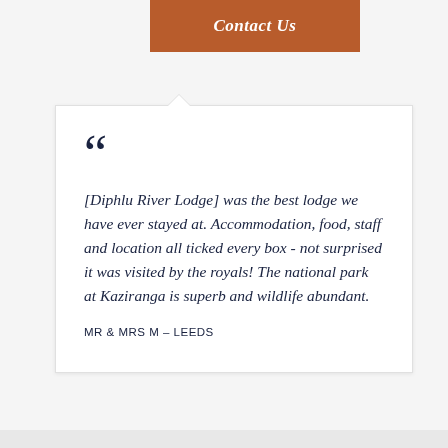Contact Us
[Diphlu River Lodge] was the best lodge we have ever stayed at. Accommodation, food, staff and location all ticked every box - not surprised it was visited by the royals! The national park at Kaziranga is superb and wildlife abundant.
MR & MRS M – LEEDS